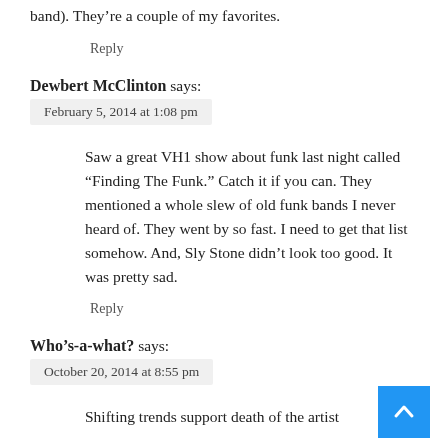band). They're a couple of my favorites.
Reply
Dewbert McClinton says:
February 5, 2014 at 1:08 pm
Saw a great VH1 show about funk last night called “Finding The Funk.” Catch it if you can. They mentioned a whole slew of old funk bands I never heard of. They went by so fast. I need to get that list somehow. And, Sly Stone didn’t look too good. It was pretty sad.
Reply
Who’s-a-what? says:
October 20, 2014 at 8:55 pm
Shifting trends support death of the artist